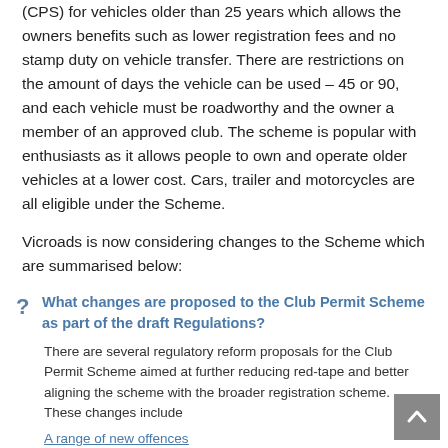(CPS) for vehicles older than 25 years which allows the owners benefits such as lower registration fees and no stamp duty on vehicle transfer. There are restrictions on the amount of days the vehicle can be used – 45 or 90, and each vehicle must be roadworthy and the owner a member of an approved club. The scheme is popular with enthusiasts as it allows people to own and operate older vehicles at a lower cost. Cars, trailer and motorcycles are all eligible under the Scheme.
Vicroads is now considering changes to the Scheme which are summarised below:
What changes are proposed to the Club Permit Scheme as part of the draft Regulations?
There are several regulatory reform proposals for the Club Permit Scheme aimed at further reducing red-tape and better aligning the scheme with the broader registration scheme. These changes include
A range of new offences
The draft Regulations propose the introduction of specific offences